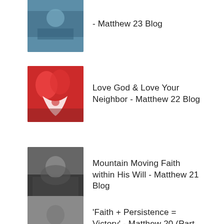- Matthew 23 Blog
Love God & Love Your Neighbor - Matthew 22 Blog
Mountain Moving Faith within His Will - Matthew 21 Blog
'Faith + Persistence = Victory' - Matthew 20 (Part 2)